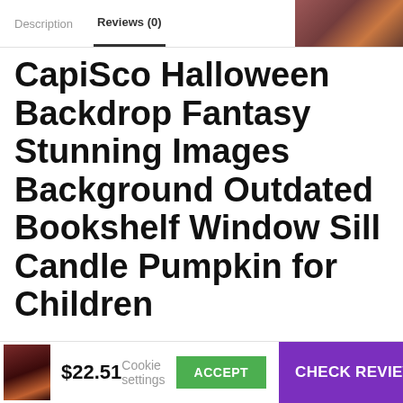Description   Reviews (0)
CapiSco Halloween Backdrop Fantasy Stunning Images Background Outdated Bookshelf Window Sill Candle Pumpkin for Children
We use cookies on our website to give you the most relevant experience by remembering your preferences and repeat visits. By clicking “Accept”, you consent to the use of ALL the cookies.
Do not sell my personal information.
$22.51
CHECK REVIEWS →